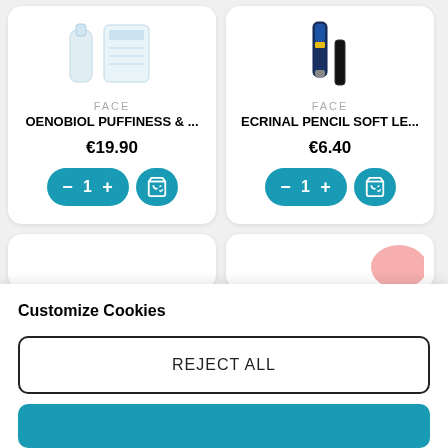[Figure (screenshot): Two product cards side by side. Left: OENOBIOL PUFFINESS & ... product image (bottle and box). Right: ECRINAL PENCIL SOFT LE... product image (pencil and cap).]
FACE
OENOBIOL PUFFINESS & ...
€19.90
FACE
ECRINAL PENCIL SOFT LE...
€6.40
[Figure (screenshot): Partial product cards in second row, partially visible.]
Customize Cookies
REJECT ALL